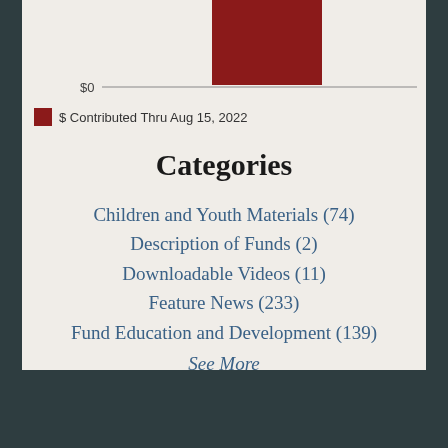[Figure (bar-chart): Partial bar chart showing a dark red bar at top, with $0 axis line visible. Chart is cropped at the top of the page.]
$ Contributed Thru Aug 15, 2022
Categories
Children and Youth Materials (74)
Description of Funds (2)
Downloadable Videos (11)
Feature News (233)
Fund Education and Development (139)
See More